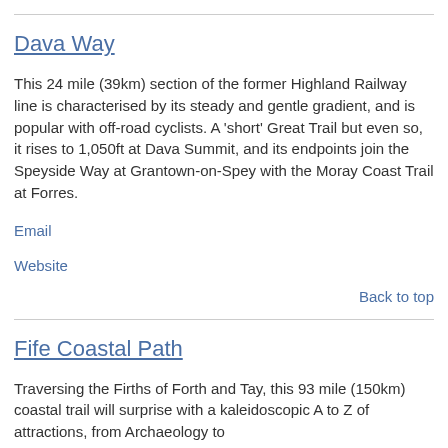Dava Way
This 24 mile (39km) section of the former Highland Railway line is characterised by its steady and gentle gradient, and is popular with off-road cyclists. A 'short' Great Trail but even so, it rises to 1,050ft at Dava Summit, and its endpoints join the Speyside Way at Grantown-on-Spey with the Moray Coast Trail at Forres.
Email
Website
Back to top
Fife Coastal Path
Traversing the Firths of Forth and Tay, this 93 mile (150km) coastal trail will surprise with a kaleidoscopic A to Z of attractions, from Archaeology to